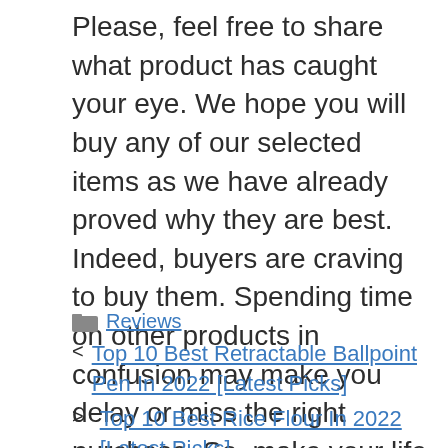Please, feel free to share what product has caught your eye. We hope you will buy any of our selected items as we have already proved why they are best. Indeed, buyers are craving to buy them. Spending time on other products in confusion may make you delay or miss the right purchase. So, make your life easier by picking the right product from our list faster.
Reviews
Top 10 Best Retractable Ballpoint Pen In 2022 [Latest Picks]
Top 10 Best Rice Flour In 2022 [Latest Picks]